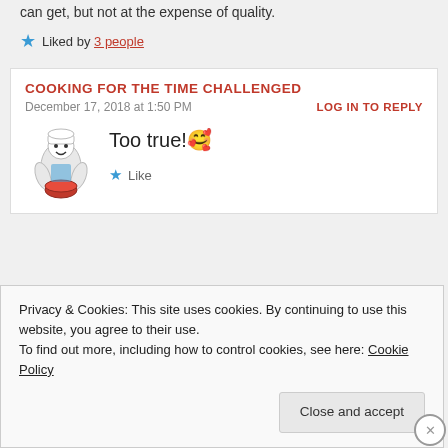can get, but not at the expense of quality.
★ Liked by 3 people
COOKING FOR THE TIME CHALLENGED
December 17, 2018 at 1:50 PM
LOG IN TO REPLY
Too true! 🥰
★ Like
[Figure (photo): Four user avatars and a blue plus button]
Privacy & Cookies: This site uses cookies. By continuing to use this website, you agree to their use. To find out more, including how to control cookies, see here: Cookie Policy
Close and accept